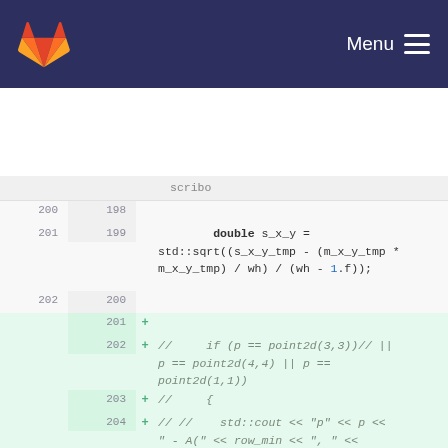scribo  Menu
[Figure (screenshot): GitLab code diff view showing C++ code with line numbers. Lines 200-208 visible. Lines 200-202 show unchanged code with double s_x_y = std::sqrt(...) calculation. Lines 201-208 show added lines (green background) with commented-out debug code including point2d comparisons and std::cout statements.]
scribo
200  198
201  199        double s_x_y = std::sqrt((s_x_y_tmp - (m_x_y_tmp * m_x_y_tmp) / wh) / (wh - 1.f));
202  200
     201  + 
     202  + //      if (p == point2d(3,3))// || p == point2d(4,4) || p == point2d(1,1))
     203  + //      {
     204  + // //      std::cout << "p" << p << " - A(" << row_min << ", " << col_min
     205  + // //                          << ") = " << simple.at_(row_min, col_min)
     206  + 
     207  + //                          << " - B(" << row_min << ", " << col_max
     208  + //                          << ") = " <<